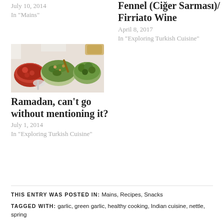July 10, 2014
In "Mains"
Fennel (Ciğer Sarması)/ Firriato Wine
April 8, 2017
In "Exploring Turkish Cuisine"
[Figure (photo): Food spread on a table with bowls of salads and dishes including tomato-based and green vegetable dishes]
Ramadan, can't go without mentioning it?
July 1, 2014
In "Exploring Turkish Cuisine"
THIS ENTRY WAS POSTED IN: Mains, Recipes, Snacks
TAGGED WITH: garlic, green garlic, healthy cooking, Indian cuisine, nettle, spring